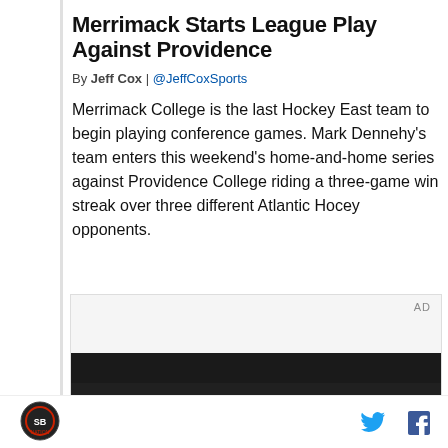Merrimack Starts League Play Against Providence
By Jeff Cox | @JeffCoxSports
Merrimack College is the last Hockey East team to begin playing conference games. Mark Dennehy's team enters this weekend's home-and-home series against Providence College riding a three-game win streak over three different Atlantic Hocey opponents.
[Figure (other): Advertisement box with dark image of interior car scene with a hand visible]
Logo icon | Twitter icon | Facebook icon